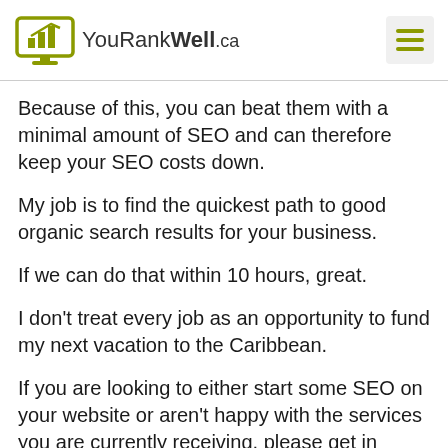YouRankWell.ca
Because of this, you can beat them with a minimal amount of SEO and can therefore keep your SEO costs down.
My job is to find the quickest path to good organic search results for your business.
If we can do that within 10 hours, great.
I don't treat every job as an opportunity to fund my next vacation to the Caribbean.
If you are looking to either start some SEO on your website or aren't happy with the services you are currently receiving, please get in touch and we can talk about what can be done – and for how much – without any obligation on your